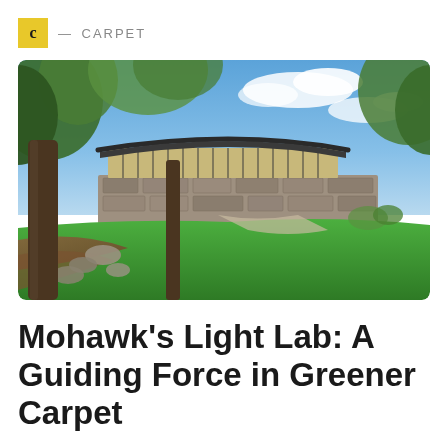C — CARPET
[Figure (photo): Exterior photograph of Mohawk's Light Lab building — a low curved mid-century modern structure with large floor-to-ceiling windows and a sweeping concave roof, set among mature trees, stone retaining walls, and a green manicured lawn, photographed with a wide-angle lens on a sunny day with blue sky and white clouds.]
Mohawk's Light Lab: A Guiding Force in Greener Carpet